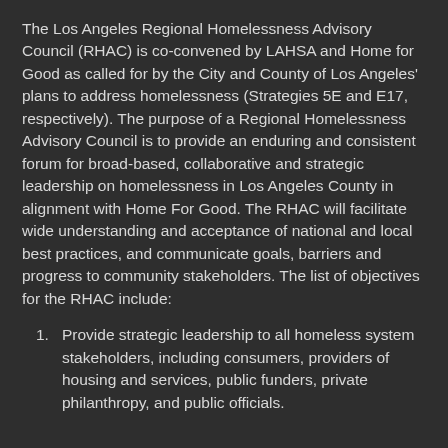The Los Angeles Regional Homelessness Advisory Council (RHAC) is co-convened by LAHSA and Home for Good as called for by the City and County of Los Angeles' plans to address homelessness (Strategies 5E and E17, respectively). The purpose of a Regional Homelessness Advisory Council is to provide an enduring and consistent forum for broad-based, collaborative and strategic leadership on homelessness in Los Angeles County in alignment with Home For Good. The RHAC will facilitate wide understanding and acceptance of national and local best practices, and communicate goals, barriers and progress to community stakeholders. The list of objectives for the RHAC include:
Provide strategic leadership to all homeless system stakeholders, including consumers, providers of housing and services, public funders, private philanthropy, and public officials.